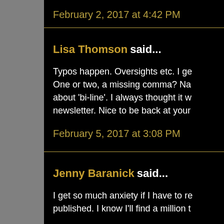February 2, 2017 at 4:42 PM
Lisa Thomson said...
Typos happen. Oversights etc. I ge... One or two, a missing comma? Na... about 'bi-line'. I always thought it w... newsletter. Nice to be back at your...
February 5, 2017 at 3:08 PM
Jenny Baranick said...
I get so much anxiety if I have to re... published. I know I'll find a million t...